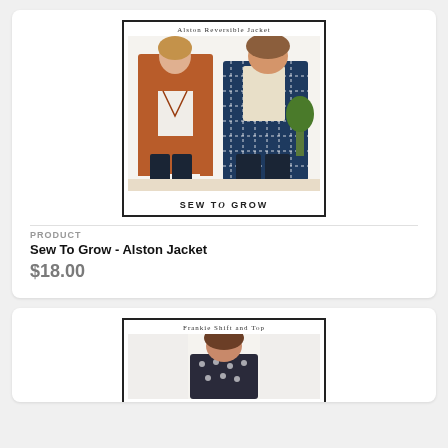[Figure (photo): Product listing card showing 'Alston Reversible Jacket' by Sew To Grow. Two women wearing jackets - one in rust/burnt orange and one in navy/white patterned. Brand logo 'SEW TO GROW' at bottom.]
PRODUCT
Sew To Grow - Alston Jacket
$18.00
[Figure (photo): Partial product listing card showing 'Frankie Shift and Top' - woman in patterned top, card cut off at bottom of page.]